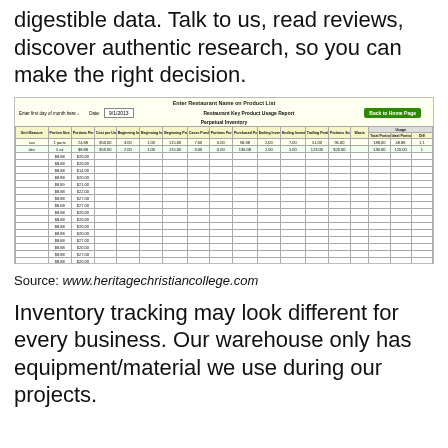digestible data. Talk to us, read reviews, discover authentic research, so you can make the right decision.
[Figure (screenshot): Screenshot of a spreadsheet titled 'Enter Restaurant Name on Product List' - Restaurant Key Product Usage Report, Perpetual Inventory, dated 9/1/2013. Contains columns for unit measure, portion size, portion per unit, cost per unit, beginning inventory case/portion counts, beginning portions, cases purchased, portions purchased, purchased portion case count, ending inventory portion/case count, trailing portions, portions sold, waste, total portions used, ideal portion count, and difference. Has two data rows and many empty rows.]
Source: www.heritagechristiancollege.com
Inventory tracking may look different for every business. Our warehouse only has equipment/material we use during our projects.